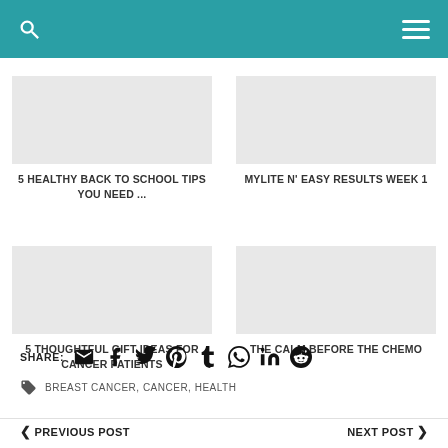Search | Menu
5 HEALTHY BACK TO SCHOOL TIPS YOU NEED ...
MYLITE N' EASY RESULTS WEEK 1
5 THOUGHTFUL GIFT IDEAS FOR CANCER PATIENTS
THE CALM BEFORE THE CHEMO
SHARE:
BREAST CANCER, CANCER, HEALTH
PREVIOUS POST
NEXT POST